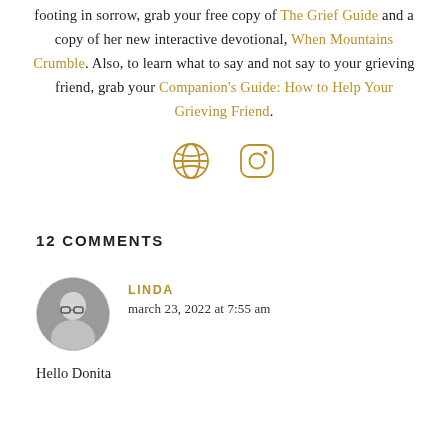footing in sorrow, grab your free copy of The Grief Guide and a copy of her new interactive devotional, When Mountains Crumble. Also, to learn what to say and not say to your grieving friend, grab your Companion's Guide: How to Help Your Grieving Friend.
[Figure (other): Two social media icons: a globe/web icon and an Instagram icon, rendered in gold outline style]
12 COMMENTS
[Figure (photo): Circular avatar photo of a woman with glasses and dark hair]
LINDA
march 23, 2022 at 7:55 am
Hello Donita